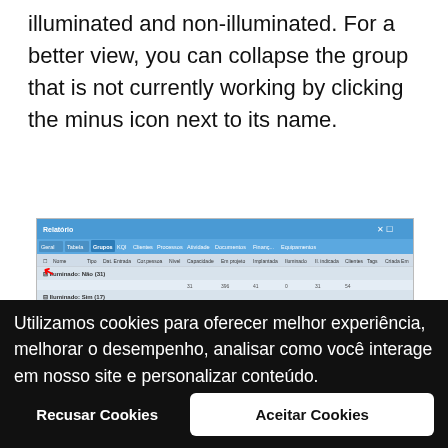illuminated and non-illuminated. For a better view, you can collapse the group that is not currently working by clicking the minus icon next to its name.
[Figure (screenshot): Screenshot of a web application table/report view showing grouped rows with colored dots (blue, green, orange squares) and columns including Nome, Tipo, Dat. Entrada, Cor.pessoa, Nível, Capacidade, Em projeto, Implantada, Iluminado, Il. indicada, Clientes, Tags, Criada Em. Rows are grouped by 'Iluminado: Não (31)' and 'Iluminado: Sim (17)'. A red arrow points to a checkbox area. A cookie consent overlay covers the lower portion of the screenshot.]
Utilizamos cookies para oferecer melhor experiência, melhorar o desempenho, analisar como você interage em nosso site e personalizar conteúdo.
Recusar Cookies
Aceitar Cookies
you can use the checkbox located on the left side of